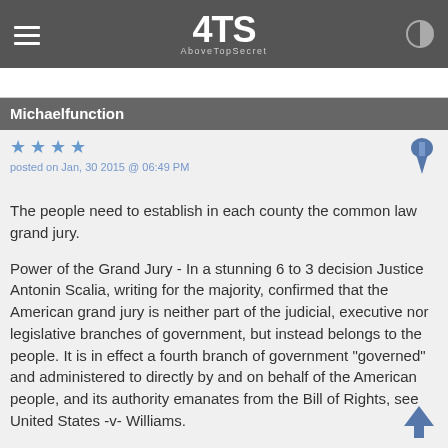ATS AboveTopSecret
Michaelfunction
posted on Jan, 30 2015 @ 06:49 PM
The people need to establish in each county the common law grand jury.

Power of the Grand Jury - In a stunning 6 to 3 decision Justice Antonin Scalia, writing for the majority, confirmed that the American grand jury is neither part of the judicial, executive nor legislative branches of government, but instead belongs to the people. It is in effect a fourth branch of government "governed" and administered to directly by and on behalf of the American people, and its authority emanates from the Bill of Rights, see United States -v- Williams.

We the People can save America